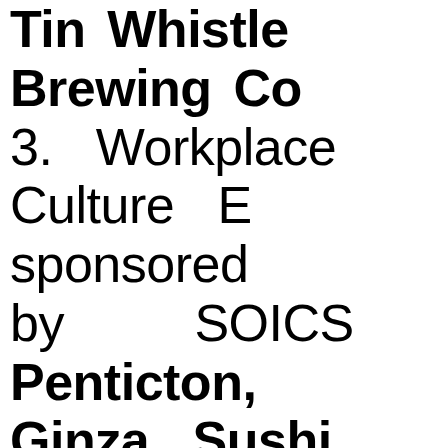Tin Whistle Brewing Co... 3. Workplace Culture E... sponsored by SOICS... Penticton, Ginza Sushi... Nautical Dog Cafe... 4. Community Support B... sponsored by Penticto... News: Barry Beecr... Distributors, Graphically...